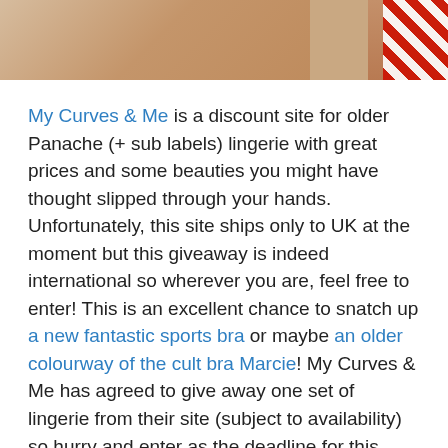[Figure (photo): Top portion of a photo showing a person's torso/legs with a red and white striped pattern on the right side and skin-toned background]
My Curves & Me is a discount site for older Panache (+ sub labels) lingerie with great prices and some beauties you might have thought slipped through your hands. Unfortunately, this site ships only to UK at the moment but this giveaway is indeed international so wherever you are, feel free to enter! This is an excellent chance to snatch up a new fantastic sports bra or maybe an older colourway of the cult bra Marcie! My Curves & Me has agreed to give away one set of lingerie from their site (subject to availability) so hurry and enter as the deadline for this raffle is only a week away!
To enter the giveaway please click the link below and follow the Rafflecopter instructions. There are two